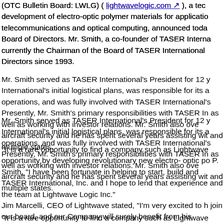(OTC Bulletin Board: LWLG) ( lightwavelogic.com ), a tec development of electro-optic polymer materials for applicatio telecommunications and optical computing, announced toda Board of Directors. Mr. Smith, a co-founder of TASER Interna currently the Chairman of the Board of TASER International Directors since 1993.
Mr. Smith served as TASER International's President for 12 y International's initial logistical plans, was responsible for its a operations, and was fully involved with TASER International's Presently, Mr. Smith's primary responsibilities with TASER In as well as working with investor relations. Mr. Smith also ove aircraft security and he has spent several years assisting wit and multiple states.
"It is a rare opportunity to find a company such as Lightwave opportunity by developing revolutionary new electro- optic po P. Smith. "I have been fortunate in helping to start, build and TASER International, Inc. and I hope to lend that experience and the team at Lightwave Logic Inc."
Jim Marcelli, CEO of Lightwave stated, "I'm very excited to h join our board, and our Company will surely benefit from his successful companies. Also, we expect Tom's global marketi its commercialization and product application objectives."